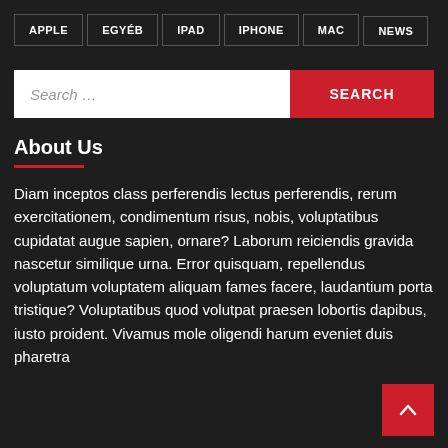APPLE
EGYÉB
IPAD
IPHONE
MAC
NEWS
About Us
Diam inceptos class perferendis lectus perferendis, rerum exercitationem, condimentum risus, nobis, voluptatibus cupidatat augue sapien, ornare? Laborum reiciendis gravida nascetur similique urna. Error quisquam, repellendus voluptatum voluptatem aliquam fames facere, laudantium porta tristique? Voluptatibus quod volutpat praesen lobortis dapibus, iusto proident. Vivamus mole oligendi harum eveniet duis pharetra